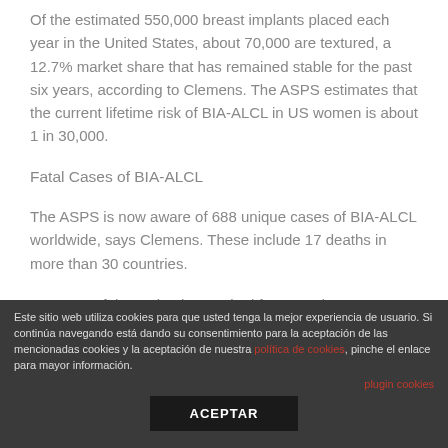Of the estimated 550,000 breast implants placed each year in the United States, about 70,000 are textured, a 12.7% market share that has remained stable for the past six years, according to Clemens. The ASPS estimates that the current lifetime risk of BIA-ALCL in US women is about 1 in 30,000.
Fatal Cases of BIA-ALCL
The ASPS is now aware of 688 unique cases of BIA-ALCL worldwide, says Clemens. These include 17 deaths in more than 30 countries.
Fourteen of these deaths resulted from respiratory
Este sitio web utiliza cookies para que usted tenga la mejor experiencia de usuario. Si continúa navegando está dando su consentimiento para la aceptación de las mencionadas cookies y la aceptación de nuestra política de cookies, pinche el enlace para mayor información.
plugin cookies
ACEPTAR